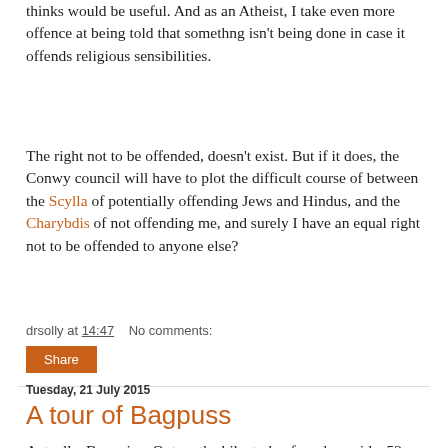thinks would be useful. And as an Atheist, I take even more offence at being told that somethng isn't being done in case it offends religious sensibilities.
The right not to be offended, doesn't exist. But if it does, the Conwy council will have to plot the difficult course of between the Scylla of potentially offending Jews and Hindus, and the Charybdis of not offending me, and surely I have an equal right not to be offended to anyone else?
drsolly at 14:47    No comments:
Share
Tuesday, 21 July 2015
A tour of Bagpuss
Actually, Bagpuize. Out on the bike today for a long ride, 52 caches done and a few DNFs. I think there must have been